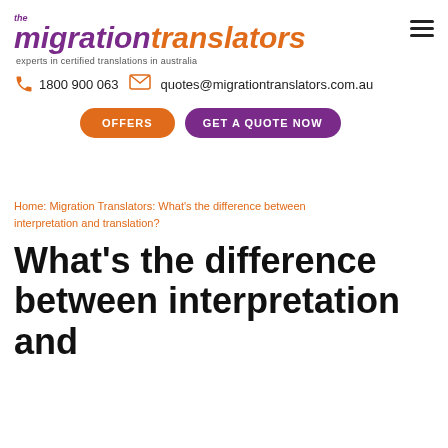[Figure (logo): The Migration Translators logo with purple 'migration' and orange 'translators' italic text, with tagline 'experts in certified translations in australia']
1800 900 063   quotes@migrationtranslators.com.au
OFFERS   GET A QUOTE NOW
Home: Migration Translators: What's the difference between interpretation and translation?
What's the difference between interpretation and